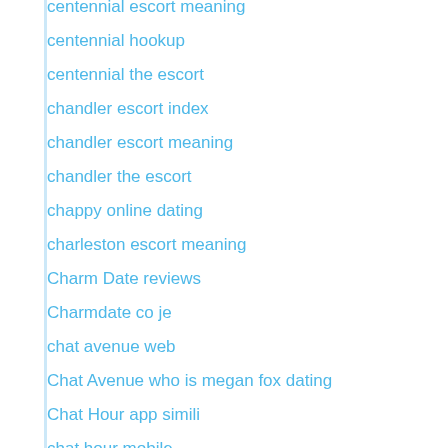centennial escort meaning
centennial hookup
centennial the escort
chandler escort index
chandler escort meaning
chandler the escort
chappy online dating
charleston escort meaning
Charm Date reviews
Charmdate co je
chat avenue web
Chat Avenue who is megan fox dating
Chat Hour app simili
chat hour mobile
Chat Hour reviews